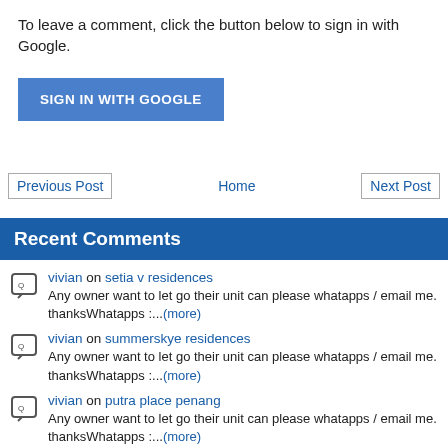To leave a comment, click the button below to sign in with Google.
[Figure (other): Blue 'SIGN IN WITH GOOGLE' button]
Previous Post | Home | Next Post
Recent Comments
vivian on setia v residences — Any owner want to let go their unit can please whatapps / email me. thanksWhatapps :...(more)
vivian on summerskye residences — Any owner want to let go their unit can please whatapps / email me. thanksWhatapps :...(more)
vivian on putra place penang — Any owner want to let go their unit can please whatapps / email me. thanksWhatapps :...(more)
vivian on iconic skies condominium — Any owner want to let go their unit can please whatapps /